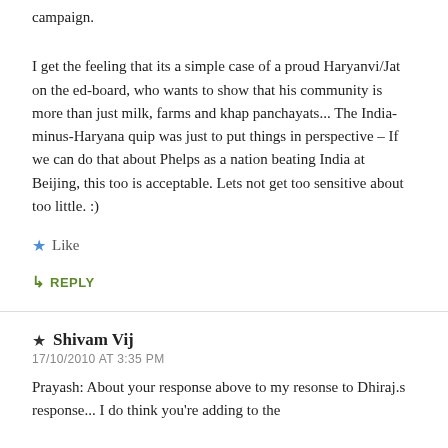campaign.
I get the feeling that its a simple case of a proud Haryanvi/Jat on the ed-board, who wants to show that his community is more than just milk, farms and khap panchayats... The India-minus-Haryana quip was just to put things in perspective – If we can do that about Phelps as a nation beating India at Beijing, this too is acceptable. Lets not get too sensitive about too little. :)
★ Like
↳ REPLY
★ Shivam Vij
17/10/2010 AT 3:35 PM
Prayash: About your response above to my resonse to Dhiraj.s response... I do think you're adding to the